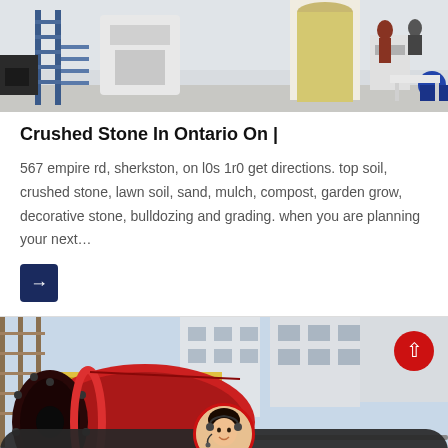[Figure (photo): Industrial factory interior with machinery, blue metal staircase, white structures, and industrial equipment]
Crushed Stone In Ontario On |
567 empire rd, sherkston, on l0s 1r0 get directions. top soil, crushed stone, lawn soil, sand, mulch, compost, garden grow, decorative stone, bulldozing and grading. when you are planning your next…
[Figure (photo): Industrial machinery — large red cylindrical ball mill or drum equipment with industrial building in background]
Leave Message    Chat Online